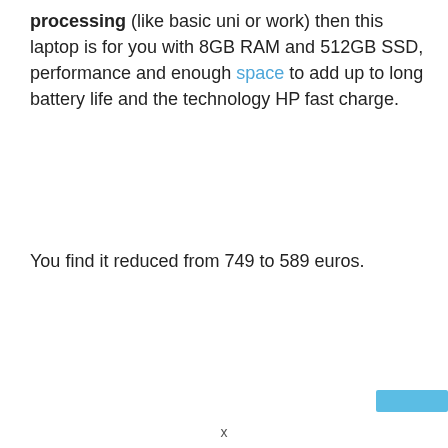processing (like basic uni or work) then this laptop is for you with 8GB RAM and 512GB SSD, performance and enough space to add up to long battery life and the technology HP fast charge.
You find it reduced from 749 to 589 euros.